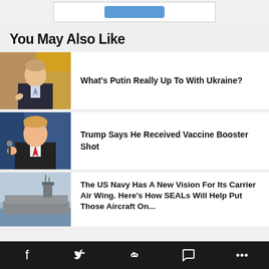[Figure (other): Top ad strip with blue button]
You May Also Like
[Figure (photo): Photo of Putin sitting at a desk]
What's Putin Really Up To With Ukraine?
[Figure (photo): Photo of Trump speaking at a microphone]
Trump Says He Received Vaccine Booster Shot
[Figure (photo): Photo of a US Navy aircraft carrier at sea]
The US Navy Has A New Vision For Its Carrier Air Wing. Here's How SEALs Will Help Put Those Aircraft On...
Social share bar: Facebook, Twitter, Link, Comment, More